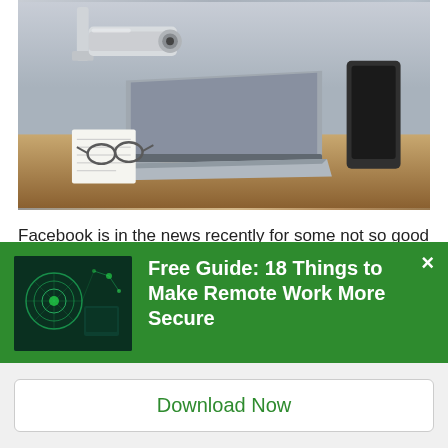[Figure (photo): A security surveillance camera pointed at an open laptop on a desk, with glasses and a notepad visible. The scene suggests digital surveillance or cybersecurity concern.]
Facebook is in the news recently for some not so good reasons.  In case you missed it, a research firm called Cambridge Analytica harvested the personal information of 50 million Facebook users and used
[Figure (photo): Small thumbnail image showing a person working on a laptop with digital security overlay graphics in green tones.]
Free Guide: 18 Things to Make Remote Work More Secure
Download Now